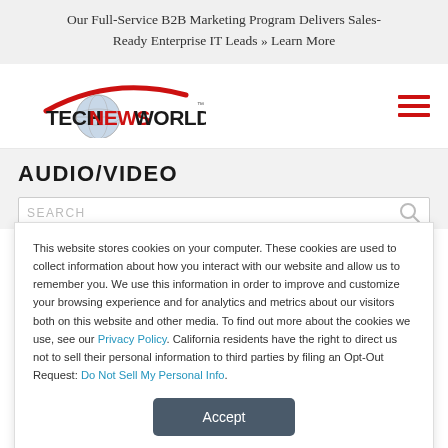Our Full-Service B2B Marketing Program Delivers Sales-Ready Enterprise IT Leads » Learn More
[Figure (logo): TechNewsWorld logo with globe and red arc]
AUDIO/VIDEO
This website stores cookies on your computer. These cookies are used to collect information about how you interact with our website and allow us to remember you. We use this information in order to improve and customize your browsing experience and for analytics and metrics about our visitors both on this website and other media. To find out more about the cookies we use, see our Privacy Policy. California residents have the right to direct us not to sell their personal information to third parties by filing an Opt-Out Request: Do Not Sell My Personal Info.